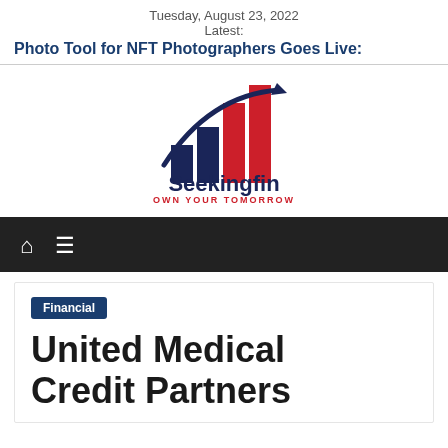Tuesday, August 23, 2022
Latest:
Photo Tool for NFT Photographers Goes Live:
[Figure (logo): SeekingFin logo with bar chart graphic and tagline OWN YOUR TOMORROW]
Financial
United Medical Credit Partners